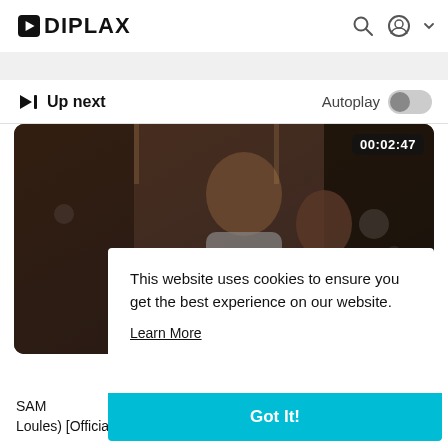[Figure (logo): IPLAX logo with play button icon in black square]
▶|  Up next
Autoplay
[Figure (photo): Video thumbnail showing a man and woman, duration 00:02:47]
This website uses cookies to ensure you get the best experience on our website.
Learn More
Got It!
SAMI... Loules) [Official Video]